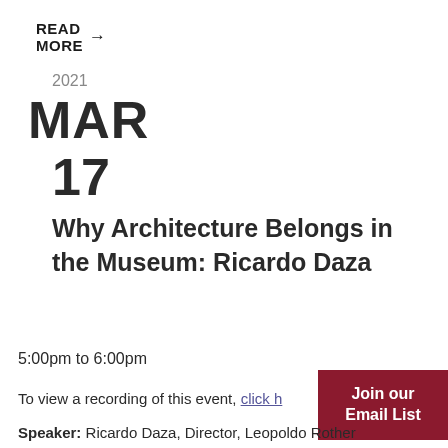READ MORE →
2021
MAR
17
Why Architecture Belongs in the Museum: Ricardo Daza
5:00pm to 6:00pm
To view a recording of this event, click h…
Join our Email List
Speaker: Ricardo Daza, Director, Leopoldo Rother Architecture Museum, Universidad